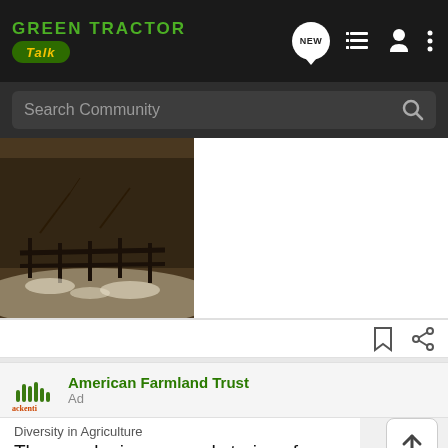Green Tractor Talk
[Figure (screenshot): Search community bar with dark background]
[Figure (photo): Sepia-toned winter photo of old wooden fence/farm equipment in snow]
[Figure (screenshot): Bookmark and share icons]
American Farmland Trust
Ad
Diversity in Agriculture
The people, issues, and stories of our industry
[Figure (screenshot): GroundOS advertisement banner: The nation's top land brokers run on GroundOS. REQUEST A DEMO]